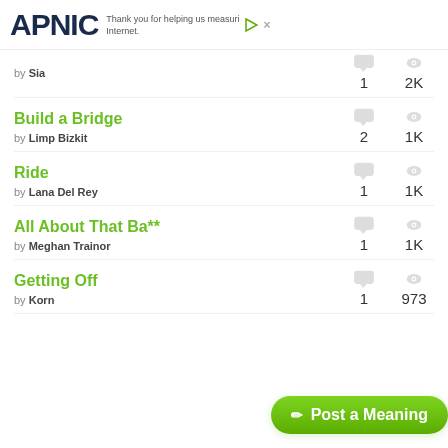APNIC — Thank you for helping us measure the Internet.
by Sia — 1 comments, 2K views
Build a Bridge by Limp Bizkit — 2 comments, 1K views
Ride by Lana Del Rey — 1 comments, 1K views
All About That Ba** by Meghan Trainor — 1 comments, 1K views
Getting Off by Korn — 1 comments, 973 views
Post a Meaning